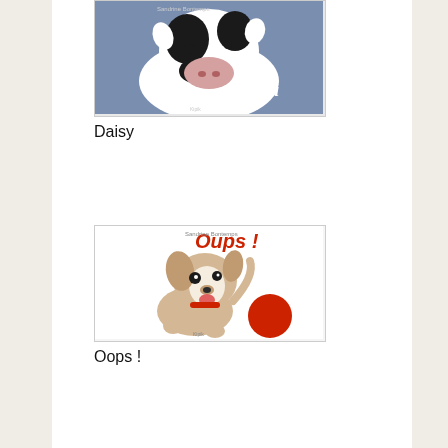[Figure (illustration): Book cover of 'Olga' featuring a black and white cow on a purple/blue background with the title 'Olga' in white text]
Daisy
[Figure (illustration): Book cover of 'Oups!' featuring a puppy dog with a red ball on a white background with the title 'Oups!' in red text]
Oops !